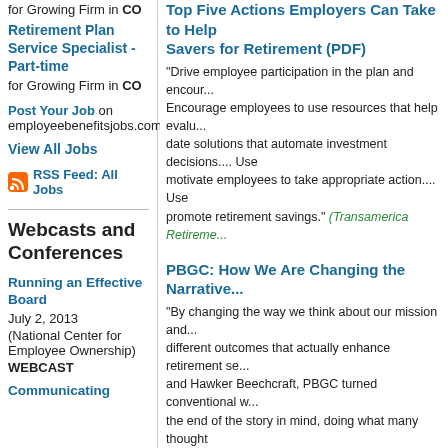for Growing Firm in CO
Retirement Plan Service Specialist - Part-time
for Growing Firm in CO
Post Your Job on employeebenefitsjobs.com
View All Jobs
RSS Feed: All Jobs
Webcasts and Conferences
Running an Effective Board
July 2, 2013
(National Center for Employee Ownership)
WEBCAST
Communicating
Top Five Actions Employers Can Take to Help Savers for Retirement (PDF)
"Drive employee participation in the plan and encour... Encourage employees to use resources that help evalu... date solutions that automate investment decisions.... motivate employees to take appropriate action.... Use promote retirement savings." (Transamerica Retireme...
PBGC: How We Are Changing the Narrative...
"By changing the way we think about our mission and... different outcomes that actually enhance retirement se... and Hawker Beechcraft, PBGC turned conventional w... the end of the story in mind, doing what many thought unlikely.... None of these successes would have been... mission as being the place where pension plans come... (Pension Benefit Guaranty Corporation)
IRS Final Report on 401(k) Compliance Che...
"The Final Report explains the sample selection and a... response to each question by percentage of plans, pla... includes stratified data based on plan size and a secti... Arrangements. The findings will be used to gain a bett... compliance behaviors of 401(k) plans and to better all... 401(k) plan compliance." (ING)
Detroit Emergency Manager Might 'Suggs...